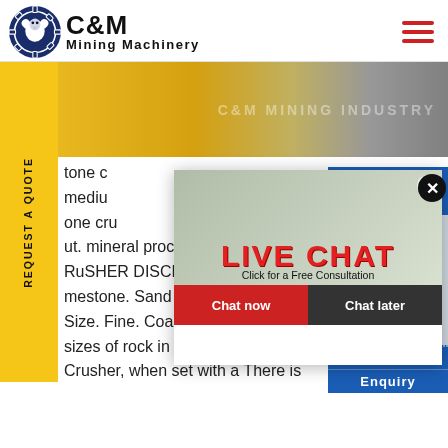[Figure (logo): C&M Mining Machinery logo with eagle in gear circle on navy blue background]
C&M Mining Machinery
[Figure (photo): Banner photo of yellow mining machinery equipment with C&M Mining Industry watermark]
[Figure (photo): Live chat popup with workers in yellow helmets and consultation button. Chat now / Chat later buttons.]
tone c medium one cru ut. mineral processing handboo RuSHER DISCHARGE SETTINGS M mestone. Sand P ercent P assin Size. Fine. Coarse. Sie ve Size. Fine sizes of rock in the product from Crusher, when set with a There is
[Figure (photo): Customer service agent with headset on right side widget. Hours Online. Click to Chat. Enquiry.]